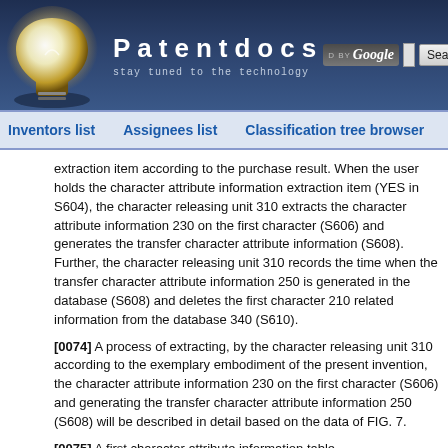Patentdocs — stay tuned to the technology
Inventors list   Assignees list   Classification tree browser
extraction item according to the purchase result. When the user holds the character attribute information extraction item (YES in S604), the character releasing unit 310 extracts the character attribute information 230 on the first character (S606) and generates the transfer character attribute information (S608). Further, the character releasing unit 310 records the time when the transfer character attribute information 250 is generated in the database (S608) and deletes the first character 210 related information from the database 340 (S610).
[0074] A process of extracting, by the character releasing unit 310 according to the exemplary embodiment of the present invention, the character attribute information 230 on the first character (S606) and generating the transfer character attribute information 250 (S608) will be described in detail based on the data of FIG. 7.
[0075] A first character attribute information table